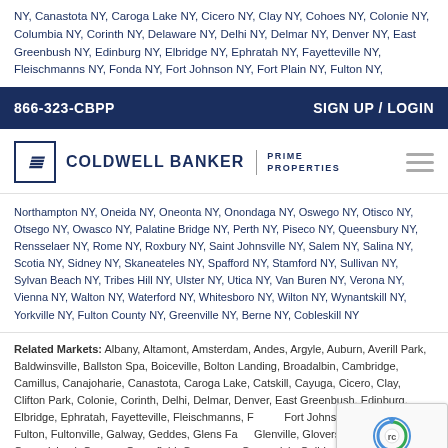NY, Canastota NY, Caroga Lake NY, Cicero NY, Clay NY, Cohoes NY, Colonie NY, Columbia NY, Corinth NY, Delaware NY, Delhi NY, Delmar NY, Denver NY, East Greenbush NY, Edinburg NY, Elbridge NY, Ephratah NY, Fayetteville NY, Fleischmanns NY, Fonda NY, Fort Johnson NY, Fort Plain NY, Fulton NY,
866-323-CBPP    SIGN UP / LOGIN
[Figure (logo): Coldwell Banker Prime Properties logo with hamburger menu icon]
Northampton NY, Oneida NY, Oneonta NY, Onondaga NY, Oswego NY, Otisco NY, Otsego NY, Owasco NY, Palatine Bridge NY, Perth NY, Piseco NY, Queensbury NY, Rensselaer NY, Rome NY, Roxbury NY, Saint Johnsville NY, Salem NY, Salina NY, Scotia NY, Sidney NY, Skaneateles NY, Spafford NY, Stamford NY, Sullivan NY, Sylvan Beach NY, Tribes Hill NY, Ulster NY, Utica NY, Van Buren NY, Verona NY, Vienna NY, Walton NY, Waterford NY, Whitesboro NY, Wilton NY, Wynantskill NY, Yorkville NY, Fulton County NY, Greenville NY, Berne NY, Cobleskill NY
Related Markets: Albany, Altamont, Amsterdam, Andes, Argyle, Auburn, Averill Park, Baldwinsville, Ballston Spa, Boiceville, Bolton Landing, Broadalbin, Cambridge, Camillus, Canajoharie, Canastota, Caroga Lake, Catskill, Cayuga, Cicero, Clay, Clifton Park, Colonie, Corinth, Delhi, Delmar, Denver, East Greenbush, Edinburg, Elbridge, Ephratah, Fayetteville, Fleischmanns, Fonda, Fort Johnson, Fort Plain, Fulton, Fultonville, Galway, Geddes, Glens Falls, Glenville, Gloversville, Granville, Green Island, Greene, Greenfield, Greenwich, Guilderland, Hagaman, Halfmoon, Hamilton, Hillsdale, Johnstown,